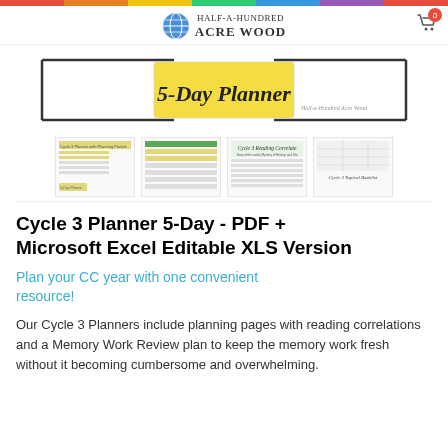[Figure (logo): Half-a-Hundred Acre Wood logo with globe icon]
[Figure (photo): 5-Day Planner product hero image with yellow banner]
[Figure (photo): Row of four product thumbnail previews: Cycle 3 Planner with Planning Packet, spreadsheet view, Cycle 3 Reading Correlate, Cycle 3 Topical Booklist]
Cycle 3 Planner 5-Day - PDF + Microsoft Excel Editable XLS Version
Plan your CC year with one convenient resource!
Our Cycle 3 Planners include planning pages with reading correlations and a Memory Work Review plan to keep the memory work fresh without it becoming cumbersome and overwhelming.